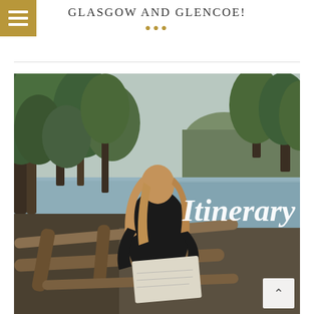GLASGOW AND GLENCOE!
[Figure (photo): A woman with long blonde hair wearing a black quilted jacket stands with her back to the camera, holding a map, looking out over a calm lake surrounded by pine and deciduous trees. Rustic wooden fence logs in the foreground. White italic text 'Itinerary' overlaid on center-right of the image.]